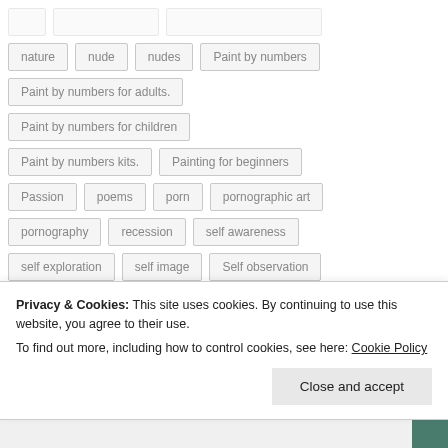nature
nude
nudes
Paint by numbers
Paint by numbers for adults.
Paint by numbers for children
Paint by numbers kits.
Painting for beginners
Passion
poems
porn
pornographic art
pornography
recession
self awareness
self exploration
self image
Self observation
Privacy & Cookies: This site uses cookies. By continuing to use this website, you agree to their use.
To find out more, including how to control cookies, see here: Cookie Policy
Close and accept